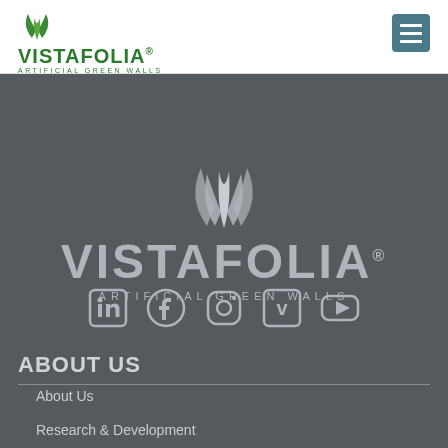[Figure (logo): Vistafolia artificial green walls logo with green leaf icon and green text]
[Figure (logo): Vistafolia large white/grey logo with stylized leaf icon on dark background]
[Figure (infographic): Social media icons row: LinkedIn, Facebook, Instagram, Vimeo, YouTube]
ABOUT US
About Us
Research & Development
Technical